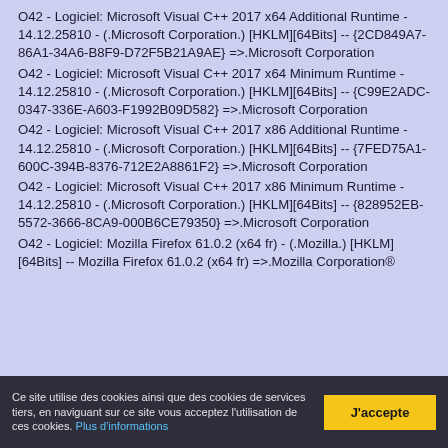O42 - Logiciel: Microsoft Visual C++ 2017 x64 Additional Runtime - 14.12.25810 - (.Microsoft Corporation.) [HKLM][64Bits] -- {2CD849A7-86A1-34A6-B8F9-D72F5B21A9AE} =>.Microsoft Corporation
O42 - Logiciel: Microsoft Visual C++ 2017 x64 Minimum Runtime - 14.12.25810 - (.Microsoft Corporation.) [HKLM][64Bits] -- {C99E2ADC-0347-336E-A603-F1992B09D582} =>.Microsoft Corporation
O42 - Logiciel: Microsoft Visual C++ 2017 x86 Additional Runtime - 14.12.25810 - (.Microsoft Corporation.) [HKLM][64Bits] -- {7FED75A1-600C-394B-8376-712E2A8861F2} =>.Microsoft Corporation
O42 - Logiciel: Microsoft Visual C++ 2017 x86 Minimum Runtime - 14.12.25810 - (.Microsoft Corporation.) [HKLM][64Bits] -- {828952EB-5572-3666-8CA9-000B6CE79350} =>.Microsoft Corporation
O42 - Logiciel: Mozilla Firefox 61.0.2 (x64 fr) - (.Mozilla.) [HKLM][64Bits] -- Mozilla Firefox 61.0.2 (x64 fr) =>.Mozilla Corporation®
Ce site utilise des cookies ainsi que des cookies de services tiers, en naviguant sur ce site vous acceptez l'utilisation de ces cookies. Plus d'informations